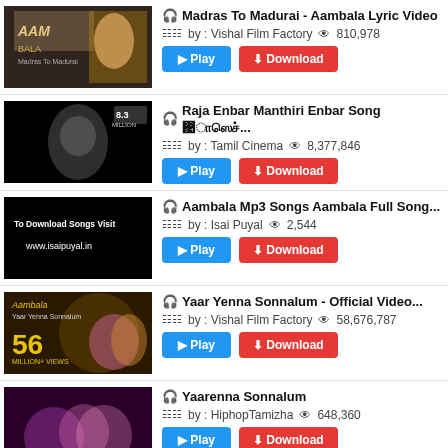[Figure (screenshot): Thumbnail for Madras To Madurai - Aambala Lyric Video, movie poster style]
Madras To Madurai - Aambala Lyric Video
by : Vishal Film Factory   810,978
[Figure (screenshot): Thumbnail for Raja Enbar Manthiri Enbar Song, black and white, 8.3 million views]
Raja Enbar Manthiri Enbar Song
by : Tamil Cinema   8,377,846
[Figure (screenshot): Thumbnail for Aambala Mp3 Songs, dark background with text To Download Songs Visit www.isaipuyal.in]
Aambala Mp3 Songs Aambala Full Song...
by : Isai Puyal   2,544
[Figure (screenshot): Thumbnail for Yaar Yenna Sonnalum Official Video, 56 million views]
Yaar Yenna Sonnalum - Official Video...
by : Vishal Film Factory   58,676,787
[Figure (screenshot): Thumbnail for Yaarenna Sonnalum]
Yaarenna Sonnalum
by : HiphopTamizha   648,360